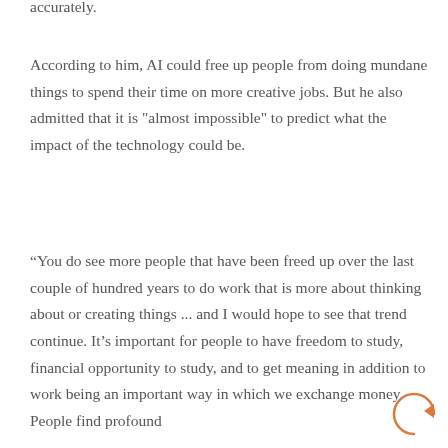accurately.
According to him, AI could free up people from doing mundane things to spend their time on more creative jobs. But he also admitted that it is "almost impossible" to predict what the impact of the technology could be.
“You do see more people that have been freed up over the last couple of hundred years to do work that is more about thinking about or creating things ... and I would hope to see that trend continue. It’s important for people to have freedom to study, financial opportunity to study, and to get meaning in addition to work being an important way in which we exchange money. People find profound